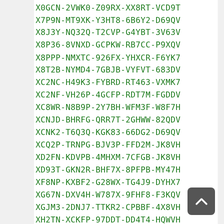X0GCN-2VWK0-Z09RX-XX8RT-VCD9T
X7P9N-MT9XK-Y3HT8-6B6Y2-D69QV
X8J3Y-NQ32Q-T2CVP-G4YBT-3V63V
X8P36-8VNXD-GCPKW-RB7CC-P9XQV
X8PPP-NMXTC-926FX-YHXCR-F6YK7
X8T2B-NYMD4-7GBJB-VYFVT-683DV
XC2NC-H49K3-FYBRD-RT463-VXMK7
XC2NF-VH26P-4GCFP-RDT7M-FGDDV
XC8WR-N8B9P-2Y7BH-WFM3F-W8F7H
XCNJD-BHRFG-QRR7T-2GHWW-82QDV
XCNK2-T6Q3Q-KGK83-66DG2-D69QV
XCQ2P-TRNPG-BJV3P-FFD2M-JK8VH
XD2FN-KDVPB-4MHXM-7CFGB-JK8VH
XD93T-GKN2R-BHF7X-8PFPB-MY47H
XF8NP-KXBF2-G28WX-TG4J9-DYHX7
XG67N-DXV4H-W787X-9FHF8-F3KQV
XGJM3-2DNJ7-TTKR2-CPBBF-4X8VH
XH2TN-XCKFP-97DDT-DD4T4-HQWVH
XJ3PN-4YJCH-W7GK6-8P4BD-7T9QV
XJQNT-BCH7T-4JKKG-4CP7M-8FG3V
XKHTG-GN42J-4FW7W-BKTGT-TJF7H
XKPVN-XK7JD-FYPKJ-THCH7-46YK7
XMTCN-FXDYX-8469P-7FG7F-369QV